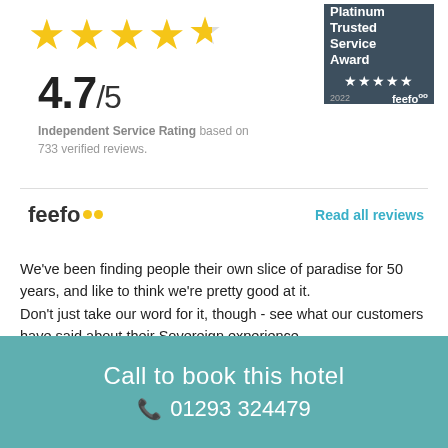[Figure (other): 4.7 out of 5 stars rating with 4 full yellow stars and 1 partial star]
[Figure (other): Feefo Platinum Trusted Service Award 2022 badge with dark background and 5 white stars]
4.7/5
Independent Service Rating based on 733 verified reviews.
[Figure (logo): Feefo logo in bold text with two yellow dots]
Read all reviews
We've been finding people their own slice of paradise for 50 years, and like to think we're pretty good at it.
Don't just take our word for it, though - see what our customers have said about their Sovereign experience..
Call to book this hotel
01293 324479